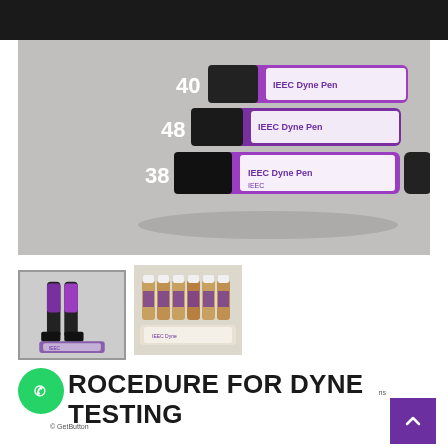IEEC - Corona • Plasma • Ozone
[Figure (photo): Three IEEC Dyne Pens labeled 40, 48, and 38 with purple and white coloring, arranged on a grey background]
[Figure (photo): Thumbnail showing IEEC Dyne Pens close-up]
[Figure (photo): Thumbnail showing IEEC Dyne test liquid bottles with accessories]
PROCEDURE FOR DYNE TESTING